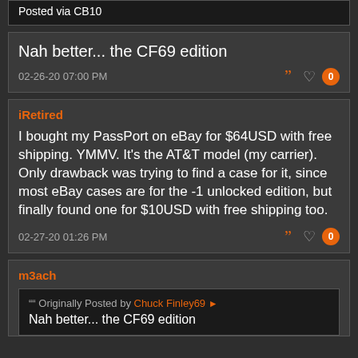Posted via CB10
Nah better... the CF69 edition
02-26-20 07:00 PM
iRetired
I bought my PassPort on eBay for $64USD with free shipping. YMMV. It's the AT&T model (my carrier). Only drawback was trying to find a case for it, since most eBay cases are for the -1 unlocked edition, but finally found one for $10USD with free shipping too.
02-27-20 01:26 PM
m3ach
Originally Posted by Chuck Finley69
Nah better... the CF69 edition